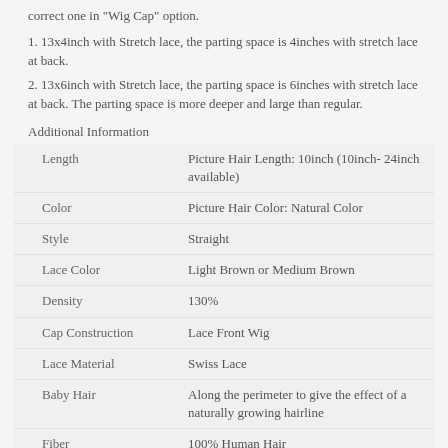correct one in "Wig Cap" option.
1. 13x4inch with Stretch lace, the parting space is 4inches with stretch lace at back.
2. 13x6inch with Stretch lace, the parting space is 6inches with stretch lace at back. The parting space is more deeper and large than regular.
Additional Information
| Attribute | Value |
| --- | --- |
| Length | Picture Hair Length: 10inch (10inch- 24inch available) |
| Color | Picture Hair Color: Natural Color |
| Style | Straight |
| Lace Color | Light Brown or Medium Brown |
| Density | 130% |
| Cap Construction | Lace Front Wig |
| Lace Material | Swiss Lace |
| Baby Hair | Along the perimeter to give the effect of a naturally growing hairline |
| Fiber | 100% Human Hair |
| Cap Size | Average |
| Hairline | Freestyle |
| Bleached Knots | Along the perimeter to make the hairline even more undetectable |
| Type Of Knots | Single knots at hairline & double knots elsewhere |